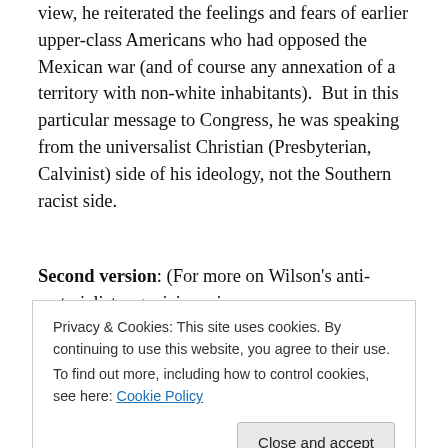view, he reiterated the feelings and fears of earlier upper-class Americans who had opposed the Mexican war (and of course any annexation of a territory with non-white inhabitants).  But in this particular message to Congress, he was speaking from the universalist Christian (Presbyterian, Calvinist) side of his ideology, not the Southern racist side.
Second version: (For more on Wilson's anti-materialist organicism views, see https://clarespark.com/2008/05/03/margoth-vs-robert-e-lee/. For more on the anti-materialist Counter-Reformation
Privacy & Cookies: This site uses cookies. By continuing to use this website, you agree to their use. To find out more, including how to control cookies, see here: Cookie Policy
Close and accept